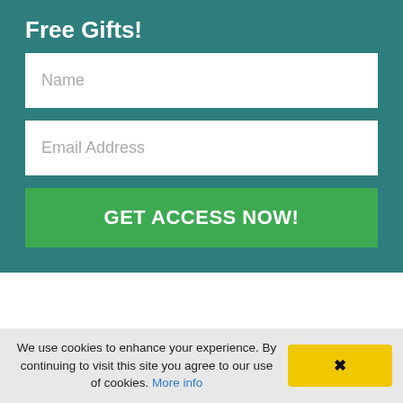Free Gifts!
[Figure (screenshot): Name input field (white rectangle with placeholder text 'Name')]
[Figure (screenshot): Email Address input field (white rectangle with placeholder text 'Email Address')]
GET ACCESS NOW!
FaceBook
We use cookies to enhance your experience. By continuing to visit this site you agree to our use of cookies. More info